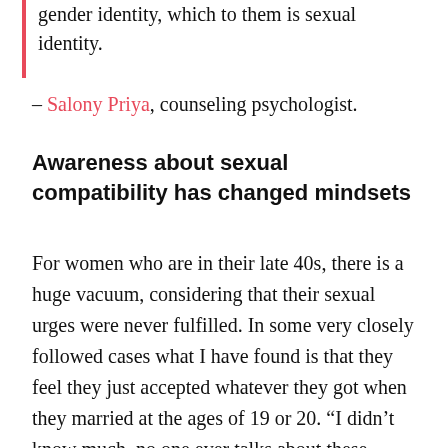gender identity, which to them is sexual identity.
– Salony Priya, counseling psychologist.
Awareness about sexual compatibility has changed mindsets
For women who are in their late 40s, there is a huge vacuum, considering that their sexual urges were never fulfilled. In some very closely followed cases what I have found is that they feel they just accepted whatever they got when they married at the ages of 19 or 20. “I didn’t know much, no one ever talks about these things.”